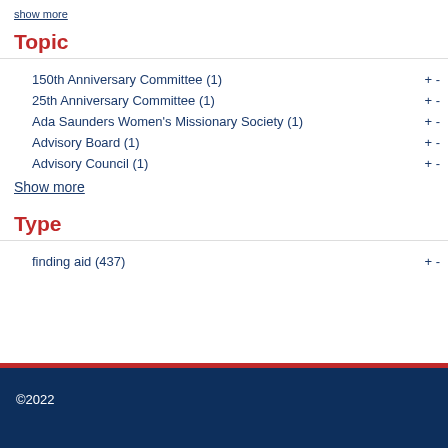show more
Topic
150th Anniversary Committee (1)
25th Anniversary Committee (1)
Ada Saunders Women's Missionary Society (1)
Advisory Board (1)
Advisory Council (1)
Show more
Type
finding aid (437)
©2022